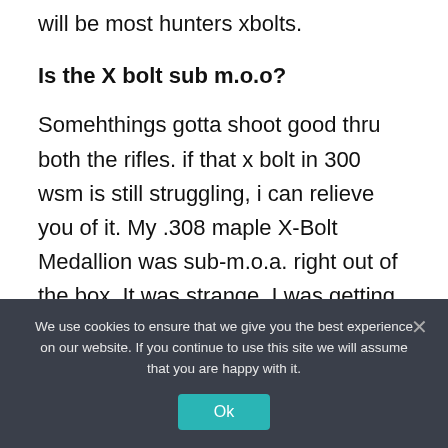will be most hunters xbolts.
Is the X bolt sub m.o.o?
Somehthings gotta shoot good thru both the rifles. if that x bolt in 300 wsm is still struggling, i can relieve you of it. My .308 maple X-Bolt Medallion was sub-m.o.a. right out of the box. It was strange, I was getting 3/4" groups at 100y, but lost it after about 50 rounds.
We use cookies to ensure that we give you the best experience on our website. If you continue to use this site we will assume that you are happy with it.